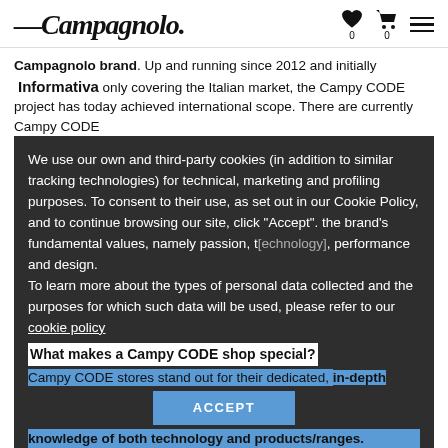Campagnolo [logo with heart icon 0, cart icon 0, menu icon]
Campagnolo brand. Up and running since 2012 and initially only covering the Italian market, the Campy CODE project has today achieved international scope. There are currently Campy CODE
Informativa
We use our own and third-party cookies (in addition to similar tracking technologies) for technical, marketing and profiling purposes. To consent to their use, as set out in our Cookie Policy, and to continue browsing our site, click "Accept". the brand's fundamental values, namely passion, t[echnology], performance and design.
To learn more about the types of personal data collected and the purposes for which such data will be used, please refer to our cookie policy
ACCEPT
What makes a Campy CODE shop special?
Campy CODE stores stand out for their dedicated, in-depth knowledge of both technology and products/ranges. Campy CODE shops are also entitled to exclusive use of a fleet of test bikes fitted out entirely with Campagnolo groupsets and wheels and to special days when their clients can try out